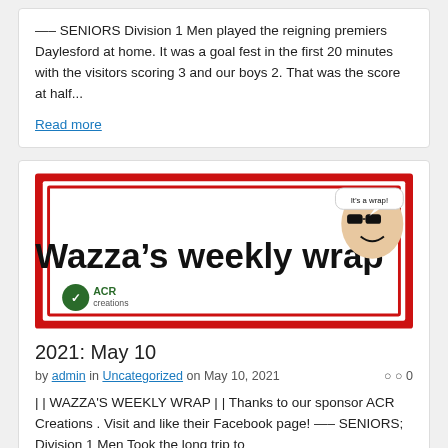—– SENIORS Division 1 Men played the reigning premiers Daylesford at home. It was a goal fest in the first 20 minutes with the visitors scoring 3 and our boys 2. That was the score at half...
Read more
[Figure (illustration): Wazza's weekly wrap banner image with red background, white inner border, bold text 'Wazza's weekly wrap', ACR Creations logo bottom left, and a photo of a bald man with sunglasses and speech bubble saying 'It's a wrap!' top right]
2021: May 10
by admin in Uncategorized on May 10, 2021   ○ 0
| | WAZZA'S WEEKLY WRAP | | Thanks to our sponsor ACR Creations . Visit and like their Facebook page! —– SENIORS; Division 1 Men Took the long trip to